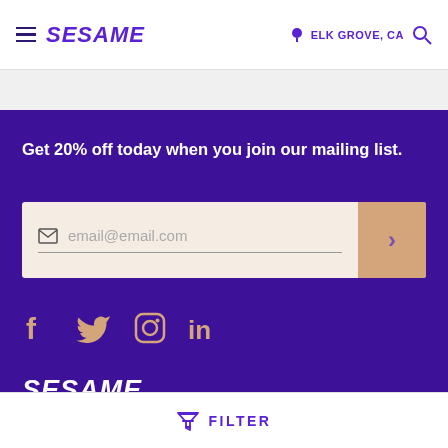SESAME — ELK GROVE, CA
Get 20% off today when you join our mailing list.
email@email.com
[Figure (illustration): Social media icons: Facebook, Twitter, Instagram, LinkedIn in beige/tan color on purple background]
SESAME
FILTER